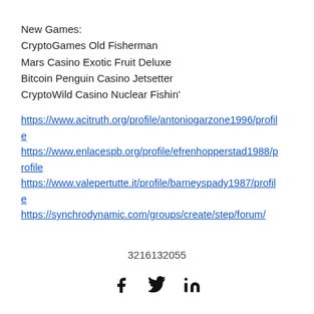New Games:
CryptoGames Old Fisherman
Mars Casino Exotic Fruit Deluxe
Bitcoin Penguin Casino Jetsetter
CryptoWild Casino Nuclear Fishin'
https://www.acitruth.org/profile/antoniogarzone1996/profile
https://www.enlacespb.org/profile/efrenhopperstad1988/profile
https://www.valepertutte.it/profile/barneyspady1987/profile
https://synchrodynamic.com/groups/create/step/forum/
3216132055
[Figure (infographic): Social media icons: Facebook, Twitter, LinkedIn]